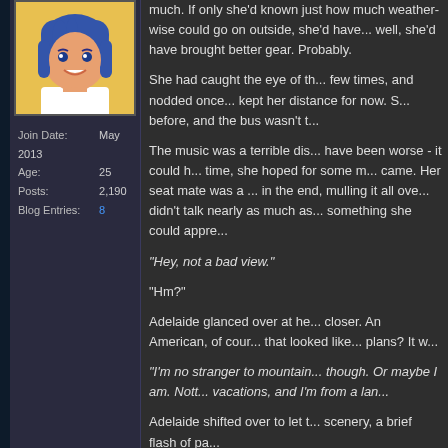[Figure (illustration): Anime-style avatar of a character with blue hair, smiling, yellow/orange background]
Join Date: May 2013
Age: 25
Posts: 2,190
Blog Entries: 8
much. If only she'd known just how much weather-wise could go on outside, she'd have... well, she'd have brought better gear. Probably.

She had caught the eye of the man she'd nearly walked into a few times, and nodded once. She kept her distance for now. S... before, and the bus wasn't t...

The music was a terrible dis... have been worse - it could h... time, she hoped for some m... came. Her seat mate was a ... in the end, mulling it all ove... didn't talk nearly as much as... something she could appre...

"Hey, not a bad view."

"Hm?"

Adelaide glanced over at he... closer. An American, of cour... that looked like... plans? It w...

"I'm no stranger to mountain... though. Or maybe I am. Nott... vacations, and I'm from a lan...

Adelaide shifted over to let t... scenery, a brief flash of pa...